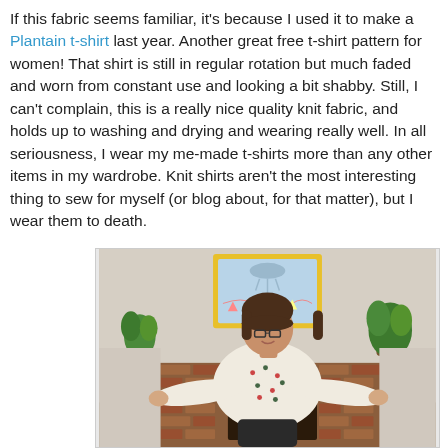If this fabric seems familiar, it's because I used it to make a Plantain t-shirt last year. Another great free t-shirt pattern for women! That shirt is still in regular rotation but much faded and worn from constant use and looking a bit shabby. Still, I can't complain, this is a really nice quality knit fabric, and holds up to washing and drying and wearing really well. In all seriousness, I wear my me-made t-shirts more than any other items in my wardrobe. Knit shirts aren't the most interesting thing to sew for myself (or blog about, for that matter), but I wear them to death.
[Figure (photo): A woman wearing a patterned white t-shirt with arms outstretched, standing in front of a brick fireplace with a yellow-framed mirror above it and plants on either side.]